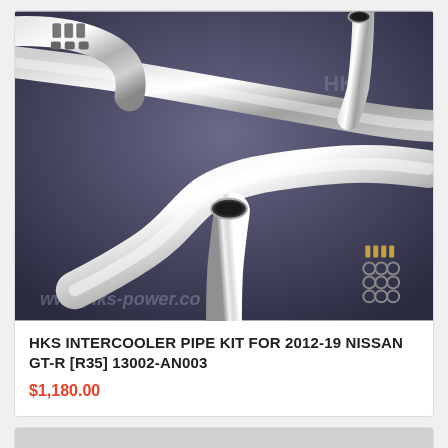[Figure (photo): Product photo of HKS intercooler pipe kit showing polished aluminum pipes, couplers, and hardware on dark background with www.hks-power.co watermark]
HKS INTERCOOLER PIPE KIT FOR 2012-19 NISSAN GT-R [R35] 13002-AN003
$1,180.00
[Figure (photo): Partial product photo visible at bottom of page, appears to show another automotive part]